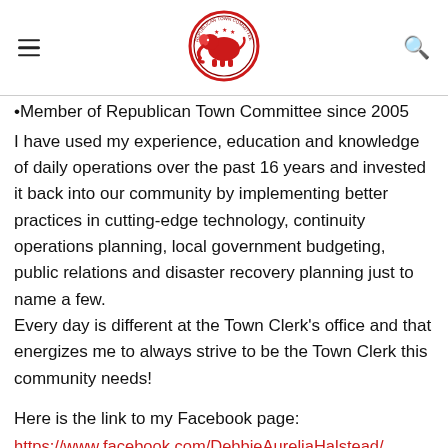Republican Town Committee logo with hamburger menu and search icon
Member of Republican Town Committee since 2005
I have used my experience, education and knowledge of daily operations over the past 16 years and invested it back into our community by implementing better practices in cutting-edge technology, continuity operations planning, local government budgeting, public relations and disaster recovery planning just to name a few.
Every day is different at the Town Clerk's office and that energizes me to always strive to be the Town Clerk this community needs!
Here is the link to my Facebook page:
https://www.facebook.com/DebbieAureliaHalstead/